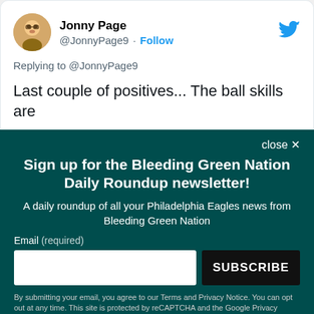[Figure (screenshot): Tweet by Jonny Page (@JonnyPage9) with Twitter bird logo, showing 'Replying to @JonnyPage9' and tweet text 'Last couple of positives... The ball skills are']
close ×
Sign up for the Bleeding Green Nation Daily Roundup newsletter!
A daily roundup of all your Philadelphia Eagles news from Bleeding Green Nation
Email (required)
SUBSCRIBE
By submitting your email, you agree to our Terms and Privacy Notice. You can opt out at any time. This site is protected by reCAPTCHA and the Google Privacy Policy and Terms of Service apply.